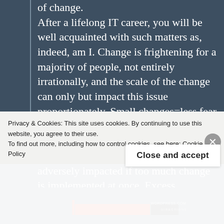of change. After a lifelong IT career, you will be well acquainted with such matters as, indeed, am I. Change is frightening for a majority of people, not entirely irrationally, and the scale of the change can only but impact this issue proportionately. Small changes=less fear, big changes=panic. We both also know that not only the fear of change but the physical ability to realise the benefit is adversely impacted if too much change is implemented at once. Excess complexity will lead to failure. Incremental change over time, even if that time is tightly
Privacy & Cookies: This site uses cookies. By continuing to use this website, you agree to their use.
To find out more, including how to control cookies, see here: Cookie Policy
Close and accept